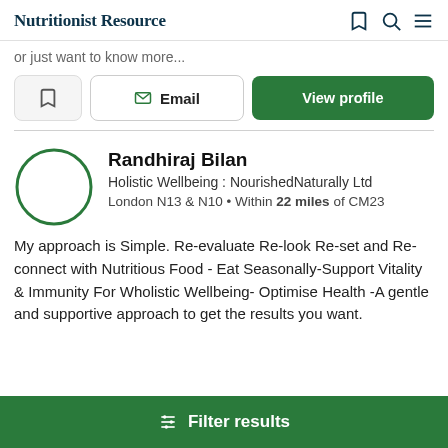Nutritionist Resource
or just want to know more...
Email  View profile
Randhiraj Bilan
Holistic Wellbeing : NourishedNaturally Ltd
London N13 & N10 • Within 22 miles of CM23
My approach is Simple. Re-evaluate Re-look Re-set and Re-connect with Nutritious Food - Eat Seasonally-Support Vitality & Immunity For Wholistic Wellbeing- Optimise Health -A gentle and supportive approach to get the results you want.
Filter results